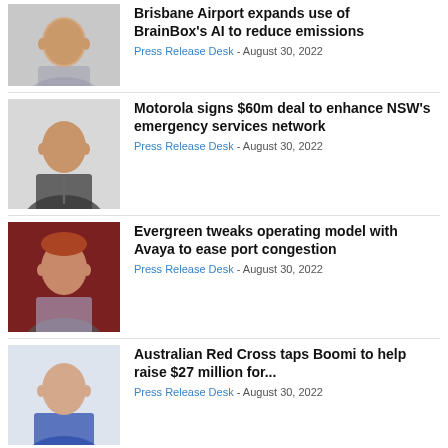[Figure (photo): Headshot of a bald smiling man in a grey blazer]
Brisbane Airport expands use of BrainBox's AI to reduce emissions
Press Release Desk - August 30, 2022
[Figure (photo): Headshot of a man in a dark suit with a tie]
Motorola signs $60m deal to enhance NSW's emergency services network
Press Release Desk - August 30, 2022
[Figure (photo): Headshot of a man with reddish hair in front of a dark red background]
Evergreen tweaks operating model with Avaya to ease port congestion
Press Release Desk - August 30, 2022
[Figure (photo): Headshot of a smiling man in a blue suit]
Australian Red Cross taps Boomi to help raise $27 million for...
Press Release Desk - August 30, 2022